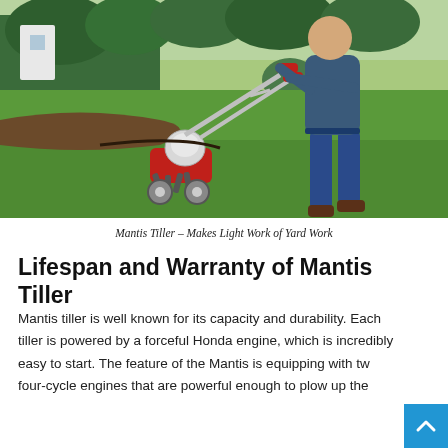[Figure (photo): Person operating a red Mantis tiller on a green lawn, with garden beds and trees in the background. The tiller is a small, lightweight model with red tines and a silver handlebar.]
Mantis Tiller – Makes Light Work of Yard Work
Lifespan and Warranty of Mantis Tiller
Mantis tiller is well known for its capacity and durability. Each tiller is powered by a forceful Honda engine, which is incredibly easy to start. The feature of the Mantis is equipping with two four-cycle engines that are powerful enough to plow up the